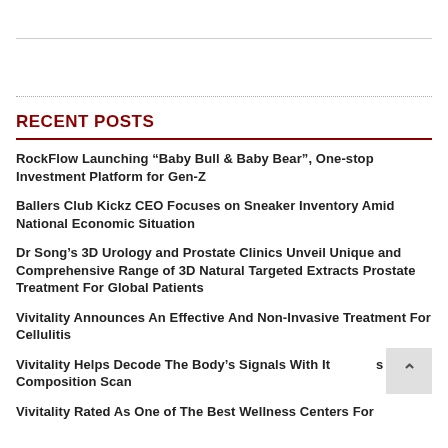RECENT POSTS
RockFlow Launching “Baby Bull & Baby Bear”, One-stop Investment Platform for Gen-Z
Ballers Club Kickz CEO Focuses on Sneaker Inventory Amid National Economic Situation
Dr Song’s 3D Urology and Prostate Clinics Unveil Unique and Comprehensive Range of 3D Natural Targeted Extracts Prostate Treatment For Global Patients
Vivitality Announces An Effective And Non-Invasive Treatment For Cellulitis
Vivitality Helps Decode The Body’s Signals With Its Body Composition Scan
Vivitality Rated As One of The Best Wellness Centers For